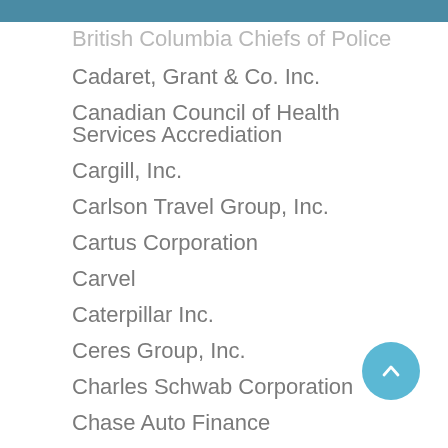British Columbia Chiefs of Police
Cadaret, Grant & Co. Inc.
Canadian Council of Health Services Accrediation
Cargill, Inc.
Carlson Travel Group, Inc.
Cartus Corporation
Carvel
Caterpillar Inc.
Ceres Group, Inc.
Charles Schwab Corporation
Chase Auto Finance
Chemtura Corp.
City of Virginia Beach